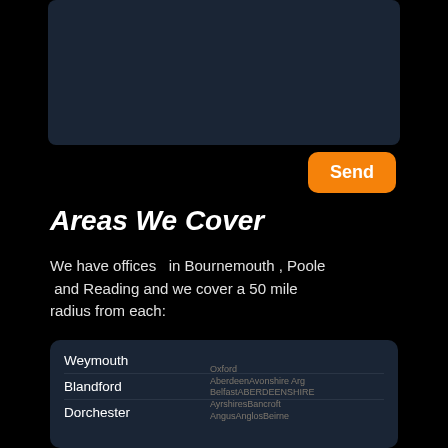[Figure (screenshot): Dark map/image area at top of page showing a dark navy background, likely a map or embedded media]
Send
Areas We Cover
We have offices  in Bournemouth , Poole  and Reading and we cover a 50 mile radius from each:
Weymouth
Blandford
Dorchester